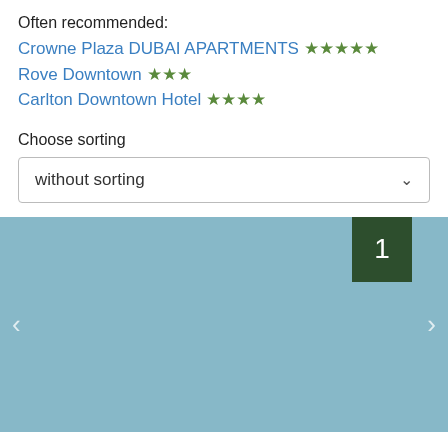Often recommended:
Crowne Plaza DUBAI APARTMENTS ★★★★★
Rove Downtown ★★★
Carlton Downtown Hotel ★★★★
Choose sorting
without sorting
[Figure (screenshot): Light blue/teal hotel image carousel area with a dark green badge showing '1', left and right navigation arrows]